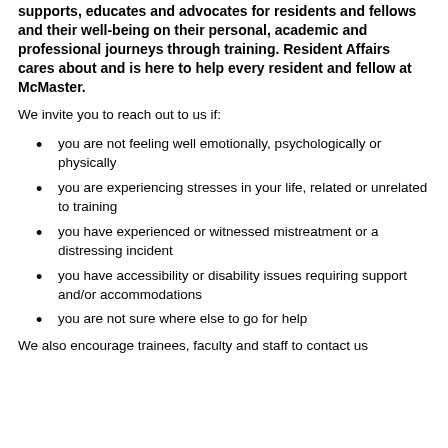supports, educates and advocates for residents and fellows and their well-being on their personal, academic and professional journeys through training. Resident Affairs cares about and is here to help every resident and fellow at McMaster.
We invite you to reach out to us if:
you are not feeling well emotionally, psychologically or physically
you are experiencing stresses in your life, related or unrelated to training
you have experienced or witnessed mistreatment or a distressing incident
you have accessibility or disability issues requiring support and/or accommodations
you are not sure where else to go for help
We also encourage trainees, faculty and staff to contact us